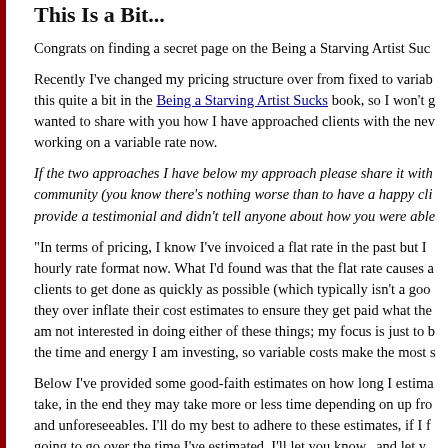This Is a Bit...
Congrats on finding a secret page on the Being a Starving Artist Suc...
Recently I've changed my pricing structure over from fixed to variable... I discuss this quite a bit in the Being a Starving Artist Sucks book, so I won't g... wanted to share with you how I have approached clients with the new... working on a variable rate now.
If the two approaches I have below my approach please share it with... community (you know there's nothing worse than to have a happy cl... provide a testimonial and didn't tell anyone about how you were abl...
"In terms of pricing, I know I've invoiced a flat rate in the past but I... hourly rate format now. What I'd found was that the flat rate causes... clients to get done as quickly as possible (which typically isn't a goo... they over inflate their cost estimates to ensure they get paid what the... am not interested in doing either of these things; my focus is just to b... the time and energy I am investing, so variable costs make the most...
Below I've provided some good-faith estimates on how long I estima... take, in the end they may take more or less time depending on up fro... and unforeseeables. I'll do my best to adhere to these estimates, if I... going to go over the time I've estimated, I'll let you know...and let y...